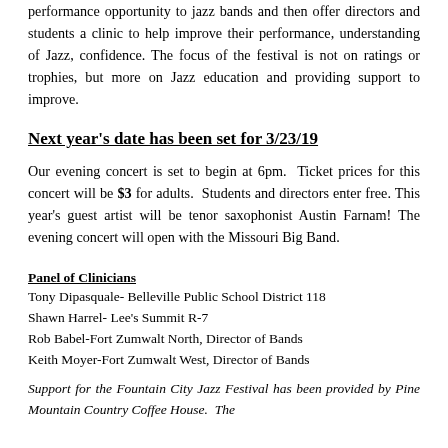performance opportunity to jazz bands and then offer directors and students a clinic to help improve their performance, understanding of Jazz, confidence. The focus of the festival is not on ratings or trophies, but more on Jazz education and providing support to improve.
Next year's date has been set for 3/23/19
Our evening concert is set to begin at 6pm. Ticket prices for this concert will be $3 for adults. Students and directors enter free. This year's guest artist will be tenor saxophonist Austin Farnam! The evening concert will open with the Missouri Big Band.
Panel of Clinicians
Tony Dipasquale- Belleville Public School District 118
Shawn Harrel- Lee's Summit R-7
Rob Babel-Fort Zumwalt North, Director of Bands
Keith Moyer-Fort Zumwalt West, Director of Bands
Support for the Fountain City Jazz Festival has been provided by Pine Mountain Country Coffee House. The